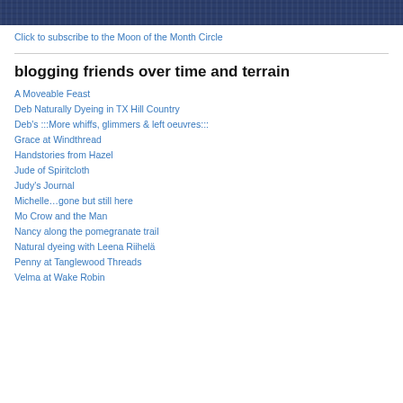[Figure (photo): Dark blue denim fabric texture image at top of page]
Click to subscribe to the Moon of the Month Circle
blogging friends over time and terrain
A Moveable Feast
Deb Naturally Dyeing in TX Hill Country
Deb's :::More whiffs, glimmers & left oeuvres:::
Grace at Windthread
Handstories from Hazel
Jude of Spiritcloth
Judy's Journal
Michelle…gone but still here
Mo Crow and the Man
Nancy along the pomegranate trail
Natural dyeing with Leena Riihelä
Penny at Tanglewood Threads
Velma at Wake Robin